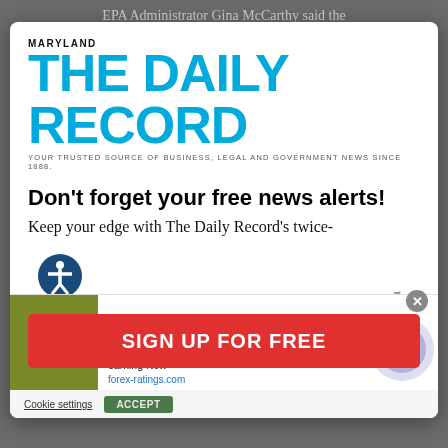EPA Administrator Gina McCarthy said the
[Figure (logo): Maryland The Daily Record logo with tagline: YOUR TRUSTED SOURCE OF BUSINESS, LEGAL AND GOVERNMENT NEWS SINCE 1888.]
Don't forget your free news alerts!
Keep your edge with The Daily Record's twice-
[Figure (infographic): Forex Ratings advertisement banner: Best Forex Brokers for profitable trading. Open Forex Account, receive Bonus and start earning Now. forex-ratings.com]
SIGN UP FOR FREE
Cookie settings   ACCEPT